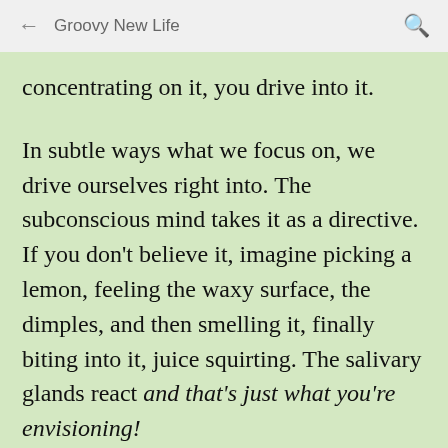Groovy New Life
concentrating on it, you drive into it.
In subtle ways what we focus on, we drive ourselves right into. The subconscious mind takes it as a directive. If you don't believe it, imagine picking a lemon, feeling the waxy surface, the dimples, and then smelling it, finally biting into it, juice squirting. The salivary glands react and that's just what you're envisioning!
I used to hate flying and dentists so much